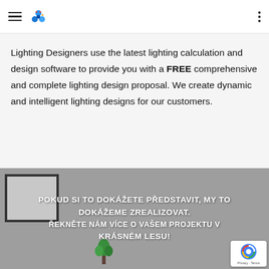Lighting Designers use the latest lighting calculation and design software to provide you with a FREE comprehensive and complete lighting design proposal. We create dynamic and intelligent lighting designs for our customers.
[Figure (photo): Background photo of a room interior (greyscale) with a framed canvas on the wall and a potted plant, overlaid with bold white Czech text: POKUD SI TO DOKÁŽETE PŘEDSTAVIT, MY TO DOKÁŽEME ZREALIZOVAT. ŘEKNĚTE NÁM VÍCE O VAŠEM PROJEKTU V KRÁSNÉM LESU!]